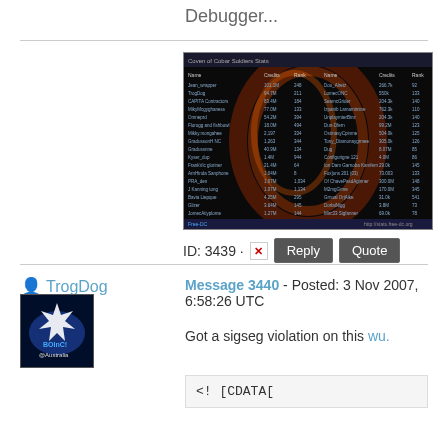Debugger...
[Figure (screenshot): Screenshot of a Free-DC stats table titled 'Coven of Cobar Soldiers Stats' showing a leaderboard with credits and rank columns on a dark background with a decorative flame/nebula graphic.]
ID: 3439 · Reply Quote
TrogDog
[Figure (photo): Avatar image showing BOINC @Australia logo on dark background]
Message 3440 - Posted: 3 Nov 2007, 6:58:26 UTC
Got a sigseg violation on this wu.
<! [CDATA[